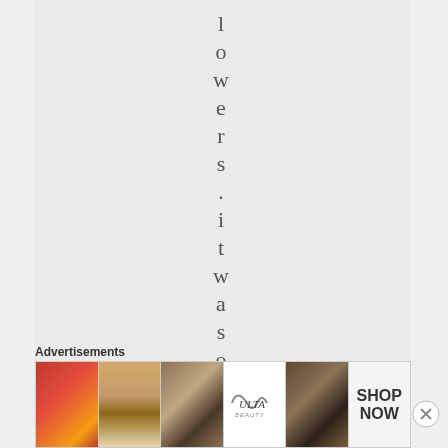lowers.itwaso
Advertisements
[Figure (other): Advertisement banner showing beauty/makeup products including lips, brush, eye, Ulta Beauty logo, smoky eye, and Shop Now button]